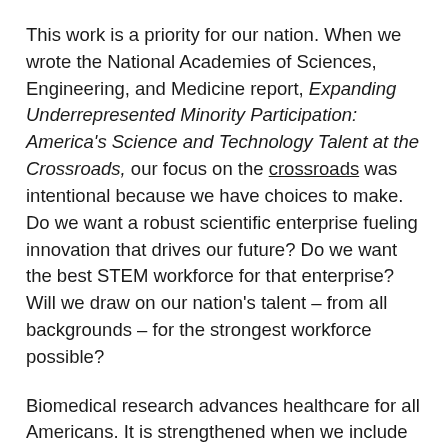This work is a priority for our nation. When we wrote the National Academies of Sciences, Engineering, and Medicine report, Expanding Underrepresented Minority Participation: America's Science and Technology Talent at the Crossroads, our focus on the crossroads was intentional because we have choices to make. Do we want a robust scientific enterprise fueling innovation that drives our future? Do we want the best STEM workforce for that enterprise?  Will we draw on our nation's talent – from all backgrounds – for the strongest workforce possible?
Biomedical research advances healthcare for all Americans. It is strengthened when we include researchers who bring a broad range of perspectives to the work. Our focus on health disparities ensures advances in healthcare reach every community and address their needs. This work is strengthened when researchers from diverse communities engage in